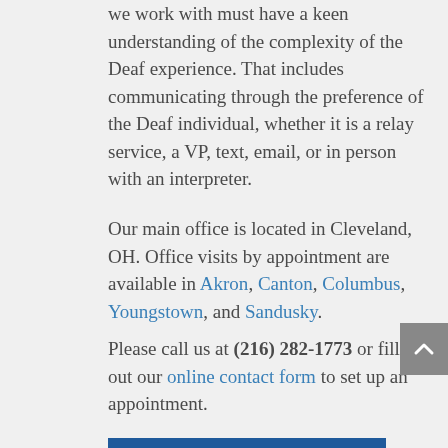we work with must have a keen understanding of the complexity of the Deaf experience. That includes communicating through the preference of the Deaf individual, whether it is a relay service, a VP, text, email, or in person with an interpreter.
Our main office is located in Cleveland, OH. Office visits by appointment are available in Akron, Canton, Columbus, Youngstown, and Sandusky.
Please call us at (216) 282-1773 or fill out our online contact form to set up an appointment.